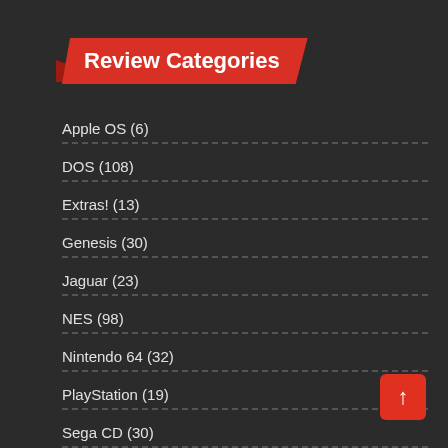Review Categories
Apple OS (6)
DOS (108)
Extras! (13)
Genesis (30)
Jaguar (23)
NES (98)
Nintendo 64 (32)
PlayStation (19)
Sega CD (30)
Site News (10)